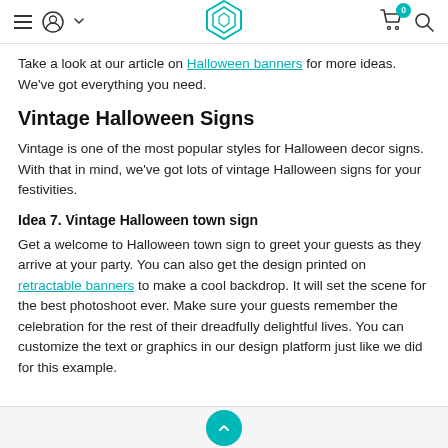Navigation bar with hamburger menu, user icon, logo, cart, and search
Take a look at our article on Halloween banners for more ideas. We've got everything you need.
Vintage Halloween Signs
Vintage is one of the most popular styles for Halloween decor signs. With that in mind, we've got lots of vintage Halloween signs for your festivities.
Idea 7. Vintage Halloween town sign
Get a welcome to Halloween town sign to greet your guests as they arrive at your party. You can also get the design printed on retractable banners to make a cool backdrop. It will set the scene for the best photoshoot ever. Make sure your guests remember the celebration for the rest of their dreadfully delightful lives. You can customize the text or graphics in our design platform just like we did for this example.
Scroll to top button